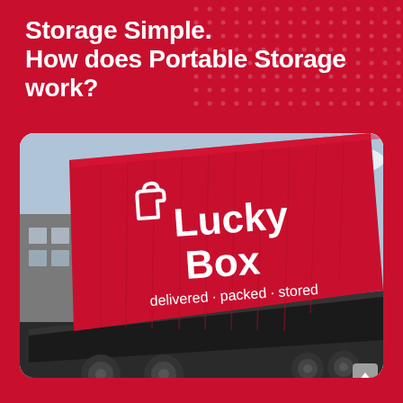Storage Simple. How does Portable Storage work?
[Figure (photo): A red LuckyBox portable storage container being tilted off a truck flatbed. The container shows the LuckyBox logo and tagline 'delivered · packed · stored' in white text on the red container side.]
1. We Deliver